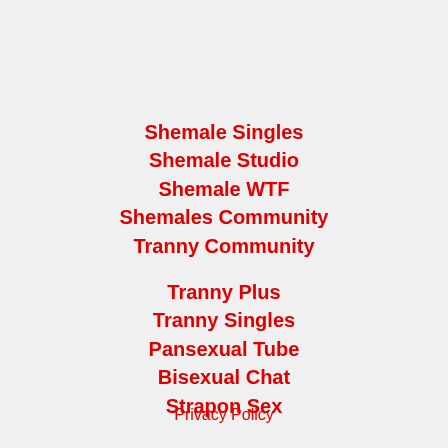Shemale Singles
Shemale Studio
Shemale WTF
Shemales Community
Tranny Community
Tranny Plus
Tranny Singles
Pansexual Tube
Bisexual Chat
Strapon Sex
Privacy Policy